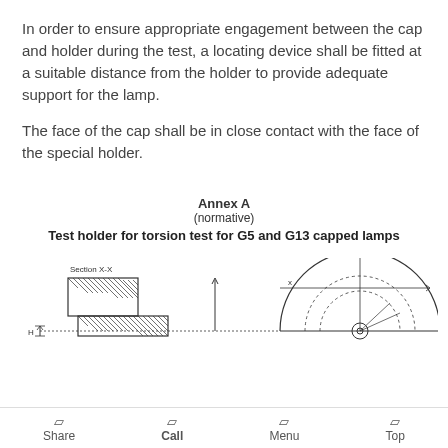In order to ensure appropriate engagement between the cap and holder during the test, a locating device shall be fitted at a suitable distance from the holder to provide adequate support for the lamp.
The face of the cap shall be in close contact with the face of the special holder.
Annex A
(normative)
Test holder for torsion test for G5 and G13 capped lamps
[Figure (engineering-diagram): Engineering cross-section (Section X-X) and front view of a test holder for torsion test for G5 and G13 capped lamps, showing hatched cross-section on left with dimension H labeled, and a semi-circular front view on right with dimension X labeled.]
Share  Call  Menu  Top